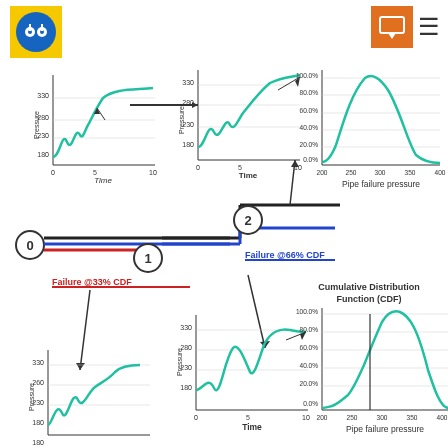[Figure (logo): Yellow/blue circular logo with 'ii' symbol]
[Figure (infographic): Engineering diagram showing pipe failure pressure analysis with step function (states 0,1,2), arrows to pressure-time charts for each state, and CDF/distribution plots on the right. Labels: Failure @33% CDF (red line, state 1), Failure @66% CDF (blue line, state 2). Multiple small pressure vs time charts and two distribution charts on right side.]
Failure @66% CDF
Failure @33% CDF
Cumulative Distribution Function (CDF)
Pipe failure pressure